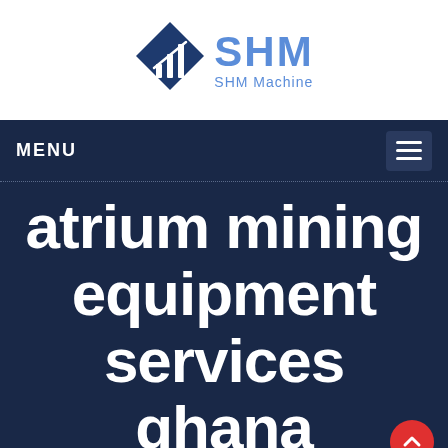[Figure (logo): SHM Machine logo with blue diamond shape containing bar chart icon and SHM text in blue, with 'SHM Machine' subtitle]
MENU
atrium mining equipment services ghana
Home / atrium mining equipment services